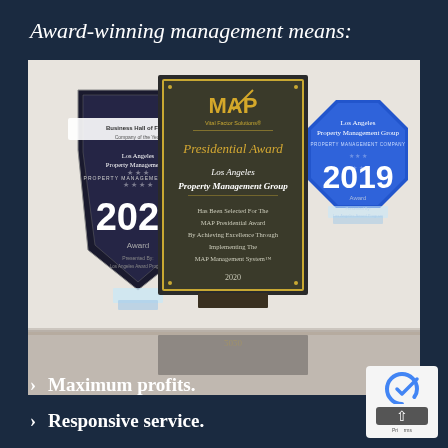Award-winning management means:
[Figure (photo): Three awards displayed on a table: a 2021 Los Angeles Property Management Group Business Hall of Fame crystal trophy on the left, a MAP Vital Factor Solutions Presidential Award black plaque in the center (awarded to Los Angeles Property Management Group, 2020), and a 2019 Los Angeles Property Management Group blue octagonal crystal trophy on the right.]
Maximum profits.
Responsive service.